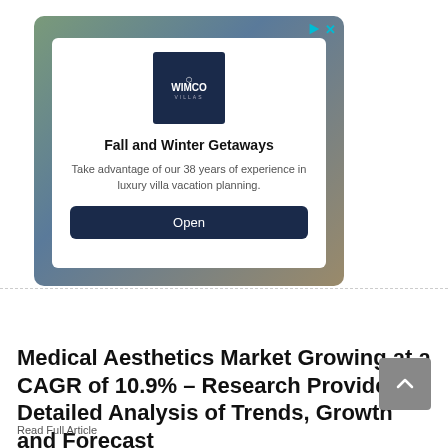[Figure (screenshot): WIMCO advertisement banner showing logo, headline 'Fall and Winter Getaways', subtext about 38 years of experience in luxury villa vacation planning, and an 'Open' button]
RECENT POSTS
Medical Aesthetics Market Growing at a CAGR of 10.9% – Research Provides Detailed Analysis of Trends, Growth and Forecast
Read Full Article